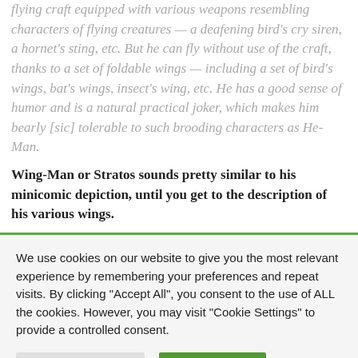flying craft equipped with various weapons resembling characters of flying creatures — a deafening bird's cry siren, a hornet's sting, etc. But he can fly without use of the craft, thanks to a set of foldable wings — including a set of bird's wings, bat's wings, insect's wing, etc. He has a good sense of humor and is a natural practical joker, which makes him bearly [sic] tolerable to such brooding characters as He-Man.
Wing-Man or Stratos sounds pretty similar to his minicomic depiction, until you get to the description of his various wings.
We use cookies on our website to give you the most relevant experience by remembering your preferences and repeat visits. By clicking "Accept All", you consent to the use of ALL the cookies. However, you may visit "Cookie Settings" to provide a controlled consent.